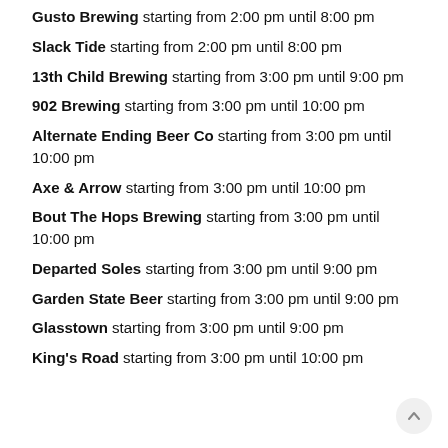Gusto Brewing starting from 2:00 pm until 8:00 pm
Slack Tide starting from 2:00 pm until 8:00 pm
13th Child Brewing starting from 3:00 pm until 9:00 pm
902 Brewing starting from 3:00 pm until 10:00 pm
Alternate Ending Beer Co starting from 3:00 pm until 10:00 pm
Axe & Arrow starting from 3:00 pm until 10:00 pm
Bout The Hops Brewing starting from 3:00 pm until 10:00 pm
Departed Soles starting from 3:00 pm until 9:00 pm
Garden State Beer starting from 3:00 pm until 9:00 pm
Glasstown starting from 3:00 pm until 9:00 pm
King's Road starting from 3:00 pm until 10:00 pm